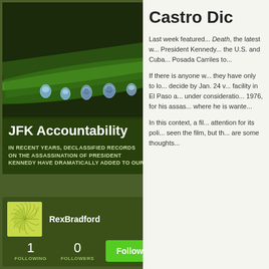[Figure (photo): Close-up photo of green plant stem with water droplets against dark background]
JFK Accountability
IN RECENT YEARS, DECLASSIFIED RECORDS ON THE ASSASSINATION OF PRESIDENT KENNEDY HAVE DRAMATICALLY ADDED TO OUR
[Figure (illustration): Profile avatar icon with circular arc pattern on yellow-green background]
RexBradford
1 FOLLOWING   0 FOLLOWERS
Castro Dic
Last week featured... Death, the latest w... President Kennedy... the U.S. and Cuba... Posada Carriles to...
If there is anyone w... they have only to lo... decide by Jan. 24 v... facility in El Paso a... under consideratio... 1976, for his assas... where he is wante...
In this context, a fil... attention for its poli... seen the film, but th... are some thoughts...